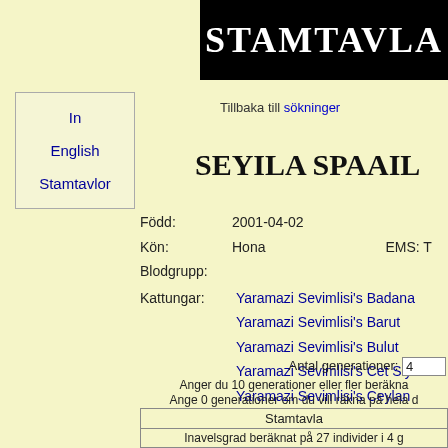STAMTAVLA
Tillbaka till sökninger
Seyila Spaail
Född: 2001-04-02
Kön: Hona
Blodgrupp:
Kattungar: Yaramazi Sevimlisi's Badana
Yaramazi Sevimlisi's Barut
Yaramazi Sevimlisi's Bulut
Yaramazi Sevimlisi's Cet Siyah
Yaramazi Sevimlisi's Ceylan
EMS: T
Antal generationer: 4
Anger du 10 generationer eller fler beräkna
Ange 0 generationer om du vill räkna på hela d
| Stamtavla |
| --- |
| Inavelsgrad beräknat på 27 individer i 4 g |
In
English
Stamtavlor